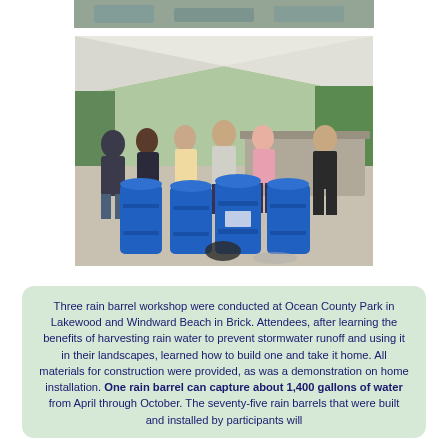[Figure (photo): Partial top photo visible at very top of page showing a similar rain barrel workshop scene.]
[Figure (photo): People at an outdoor covered pavilion assembling blue rain barrels at Ocean County Park or Windward Beach. Several large blue plastic barrels are visible with participants working around them on a concrete surface under a white tent canopy.]
Three rain barrel workshop were conducted at Ocean County Park in Lakewood and Windward Beach in Brick. Attendees, after learning the benefits of harvesting rain water to prevent stormwater runoff and using it in their landscapes, learned how to build one and take it home. All materials for construction were provided, as was a demonstration on home installation. One rain barrel can capture about 1,400 gallons of water from April through October. The seventy-five rain barrels that were built and installed by participants will